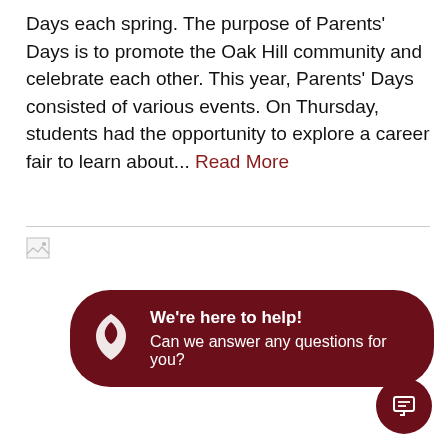Days each spring. The purpose of Parents' Days is to promote the Oak Hill community and celebrate each other. This year, Parents' Days consisted of various events. On Thursday, students had the opportunity to explore a career fair to learn about... Read More
[Figure (other): Broken image placeholder icon]
We're here to help! Can we answer any questions for you?